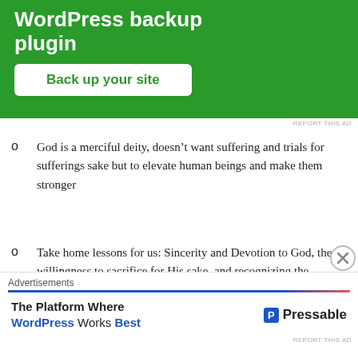[Figure (other): Green advertisement banner for WordPress backup plugin with 'Back up your site' button]
REPORT THIS AD
God is a merciful deity, doesn’t want suffering and trials for sufferings sake but to elevate human beings and make them stronger
Take home lessons for us: Sincerity and Devotion to God, the willingness to sacrifice for His sake, and recognizing the merciful nature of God.
Advertisements
[Figure (other): Red Longreads advertisement banner]
Advertisements
[Figure (other): Pressable WordPress advertisement: The Platform Where WordPress Works Best]